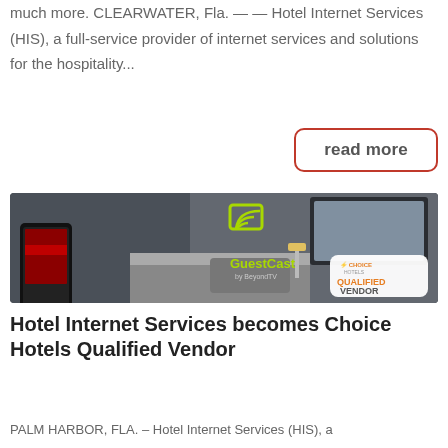much more. CLEARWATER, Fla. — — Hotel Internet Services (HIS), a full-service provider of internet services and solutions for the hospitality...
read more
[Figure (photo): Hotel room with a person holding a smartphone streaming content. GuestCast by BeyondTV logo visible with Choice Hotels Qualified Vendor badge.]
Hotel Internet Services becomes Choice Hotels Qualified Vendor
PALM HARBOR, FLA. – Hotel Internet Services (HIS), a